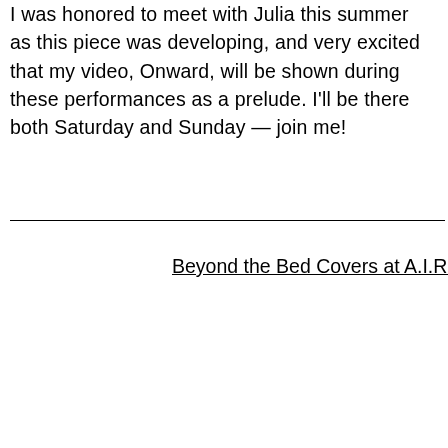I was honored to meet with Julia this summer as this piece was developing, and very excited that my video, Onward, will be shown during these performances as a prelude. I'll be there both Saturday and Sunday — join me!
Beyond the Bed Covers at A.I.R. Gallery